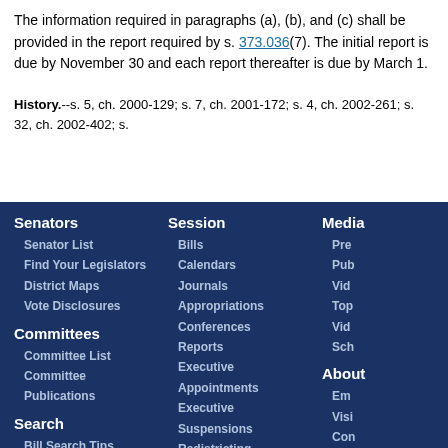The information required in paragraphs (a), (b), and (c) shall be provided in the report required by s. 373.036(7). The initial report is due by November 30 and each report thereafter is due by March 1.
History.--s. 5, ch. 2000-129; s. 7, ch. 2001-172; s. 4, ch. 2002-261; s. 32, ch. 2002-402; s.
Senators
Senator List
Find Your Legislators
District Maps
Vote Disclosures
Committees
Committee List
Committee
Publications
Search
Bill Search Tips
Statute Search Tips
Site Search Tips
Session
Bills
Calendars
Journals
Appropriations
Conferences
Reports
Executive Appointments
Executive Suspensions
Redistricting
Laws
Statutes
Media
Pre...
Pub...
Vid...
Top...
Vid...
Sch...
About
Em...
Visi...
Con...
Pag...